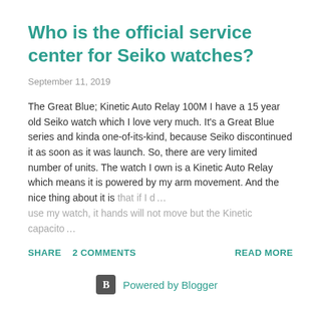Who is the official service center for Seiko watches?
September 11, 2019
The Great Blue; Kinetic Auto Relay 100M I have a 15 year old Seiko watch which I love very much. It's a Great Blue series and kinda one-of-its-kind, because Seiko discontinued it as soon as it was launch. So, there are very limited number of units. The watch I own is a Kinetic Auto Relay which means it is powered by my arm movement. And the nice thing about it is that if I d… use my watch, it hands will not move but the Kinetic capacito…
SHARE   2 COMMENTS   READ MORE
Powered by Blogger